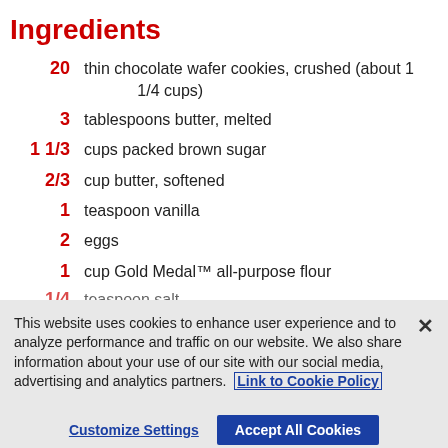Ingredients
20 thin chocolate wafer cookies, crushed (about 1 1/4 cups)
3 tablespoons butter, melted
1 1/3 cups packed brown sugar
2/3 cup butter, softened
1 teaspoon vanilla
2 eggs
1 cup Gold Medal™ all-purpose flour
1/4 teaspoon salt
This website uses cookies to enhance user experience and to analyze performance and traffic on our website. We also share information about your use of our site with our social media, advertising and analytics partners. Link to Cookie Policy
Customize Settings   Accept All Cookies